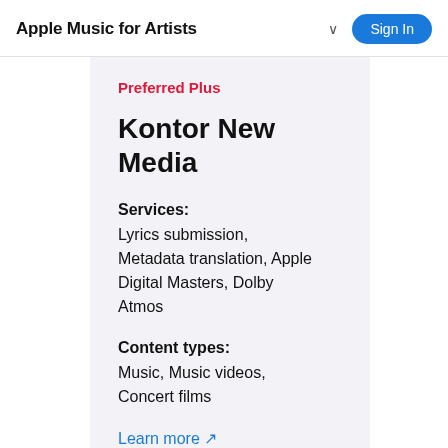Apple Music for Artists
Preferred Plus
Kontor New Media
Services:
Lyrics submission, Metadata translation, Apple Digital Masters, Dolby Atmos
Content types:
Music, Music videos, Concert films
Learn more ↗